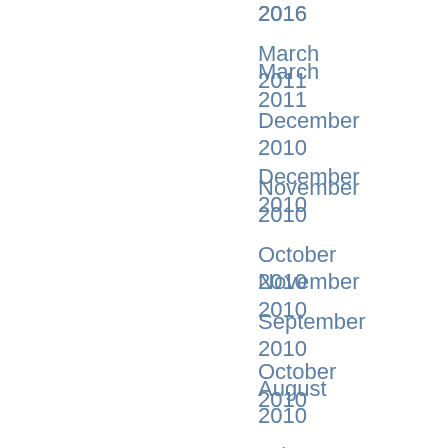2016
March 2011
December 2010
November 2010
October 2010
September 2010
August 2010
July 2010
June 2010